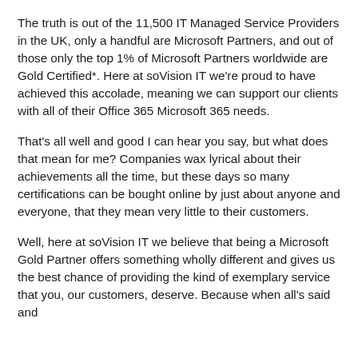The truth is out of the 11,500 IT Managed Service Providers in the UK, only a handful are Microsoft Partners, and out of those only the top 1% of Microsoft Partners worldwide are Gold Certified*. Here at soVision IT we're proud to have achieved this accolade, meaning we can support our clients with all of their Office 365 Microsoft 365 needs.
That's all well and good I can hear you say, but what does that mean for me? Companies wax lyrical about their achievements all the time, but these days so many certifications can be bought online by just about anyone and everyone, that they mean very little to their customers.
Well, here at soVision IT we believe that being a Microsoft Gold Partner offers something wholly different and gives us the best chance of providing the kind of exemplary service that you, our customers, deserve. Because when all's said and